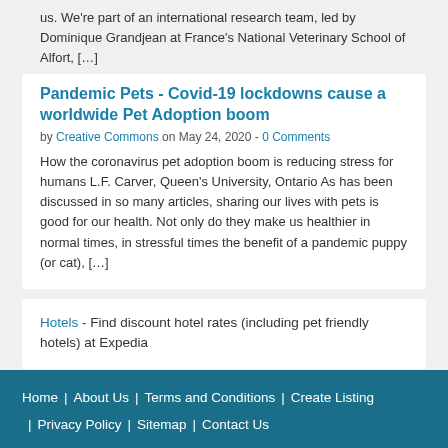us. We're part of an international research team, led by Dominique Grandjean at France's National Veterinary School of Alfort, […]
Pandemic Pets - Covid-19 lockdowns cause a worldwide Pet Adoption boom
by Creative Commons on May 24, 2020 - 0 Comments
How the coronavirus pet adoption boom is reducing stress for humans L.F. Carver, Queen's University, Ontario As has been discussed in so many articles, sharing our lives with pets is good for our health. Not only do they make us healthier in normal times, in stressful times the benefit of a pandemic puppy (or cat), […]
Hotels - Find discount hotel rates (including pet friendly hotels) at Expedia
Home | About Us | Terms and Conditions | Create Listing | Privacy Policy | Sitemap | Contact Us